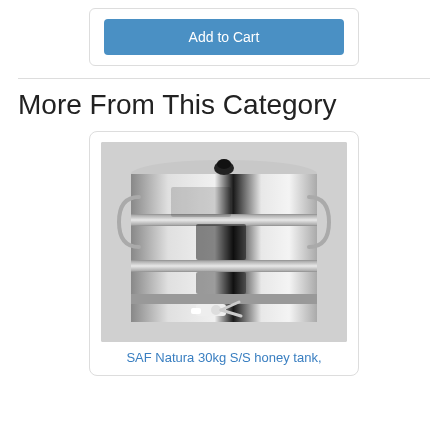Add to Cart
More From This Category
[Figure (photo): Stainless steel honey tank (SAF Natura 30kg S/S honey tank) with lid, side handles, and a white tap/faucet at the bottom front. The cylindrical tank has multiple horizontal ridged bands and is photographed on a light background.]
SAF Natura 30kg S/S honey tank,